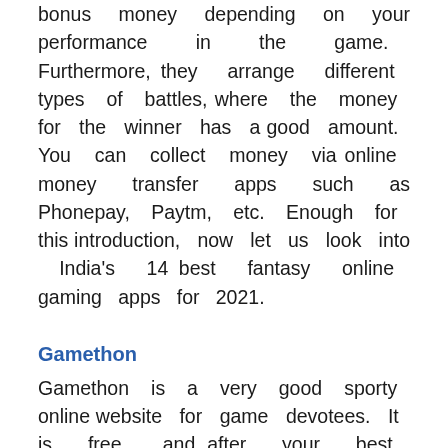bonus money depending on your performance in the game. Furthermore, they arrange different types of battles, where the money for the winner has a good amount. You can collect money via online money transfer apps such as Phonepay, Paytm, etc. Enough for this introduction, now let us look into India's 14 best fantasy online gaming apps for 2021.
Gamethon
Gamethon is a very good sporty online website for game devotees. It is free, and after your best performance here, you can win real cash. Plus, you can also share and play with your friends and share the